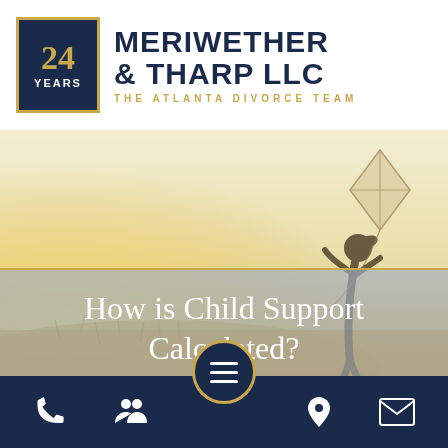[Figure (logo): Meriwether & Tharp LLC law firm logo with '24 YEARS' badge in navy and gold, firm name in navy uppercase serif text, tagline 'THE ATLANTA DIVORCE TEAM' in gold spaced letters]
[Figure (photo): Hero background image of a child running in a golden field holding a kite, with warm sunlit outdoor scene]
How is Child Support Calculated?
[Figure (other): Bottom navigation bar in navy blue with phone, people, hamburger menu (center floating circle), map pin, and envelope icons]